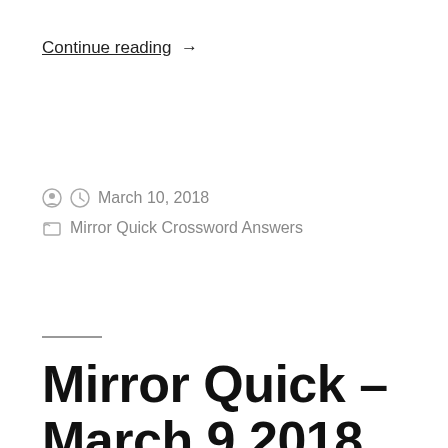Continue reading →
March 10, 2018
Mirror Quick Crossword Answers
Mirror Quick – March 9 2018 Crossword